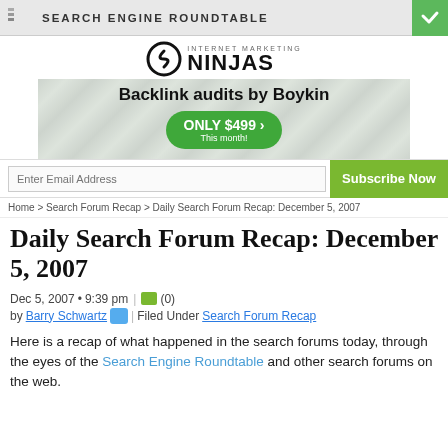SEARCH ENGINE ROUNDTABLE
[Figure (infographic): Internet Marketing Ninjas logo with Backlink audits by Boykin ad banner showing ONLY $499 This month! offer]
[Figure (infographic): Email subscription bar with Enter Email Address input and Subscribe Now green button]
Home > Search Forum Recap > Daily Search Forum Recap: December 5, 2007
Daily Search Forum Recap: December 5, 2007
Dec 5, 2007 • 9:39 pm | (0)
by Barry Schwartz | Filed Under Search Forum Recap
Here is a recap of what happened in the search forums today, through the eyes of the Search Engine Roundtable and other search forums on the web.